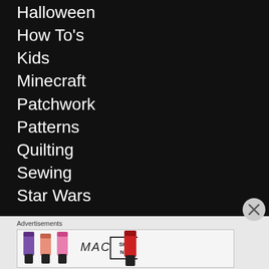Halloween
How To's
Kids
Minecraft
Patchwork
Patterns
Quilting
Sewing
Star Wars
Advertisements
[Figure (other): MAC Cosmetics advertisement banner showing lipsticks in purple, peach, pink, and red colors alongside the MAC logo and a SHOP NOW button]